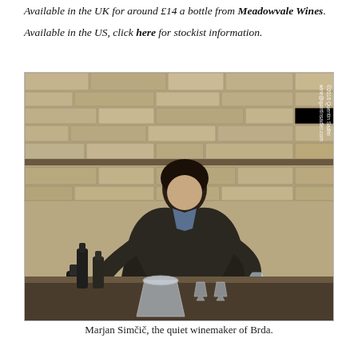Available in the UK for around £14 a bottle from Meadowvale Wines.
Available in the US, click here for stockist information.
[Figure (photo): A man (Marjan Simčič) pouring wine from a bottle into a glass, standing in front of a rustic stone wall. A wooden bar counter is in the foreground with wine bottles and an ice bucket. Watermark reads '©2016 Quentin Sadler wine@quintinsadler.com'.]
Marjan Simčič, the quiet winemaker of Brda.